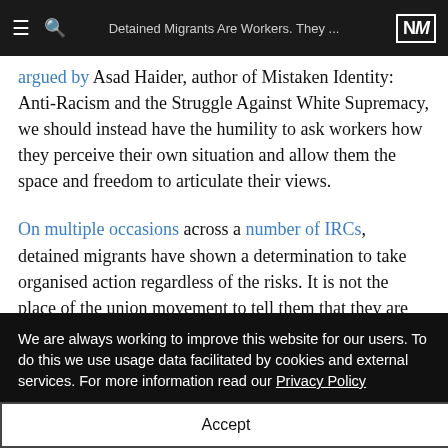Detained Migrants Are Workers. They ...
argued by Asad Haider, author of Mistaken Identity: Anti-Racism and the Struggle Against White Supremacy, we should instead have the humility to ask workers how they perceive their own situation and allow them the space and freedom to articulate their views.
On multiple occasions across a number of IRCs, detained migrants have shown a determination to take organised action regardless of the risks. It is not the place of the union movement to tell them that they are wrong to do so.
In addition, the immigration legal sector must be primed to
We are always working to improve this website for our users. To do this we use usage data facilitated by cookies and external services. For more information read our Privacy Policy
Accept